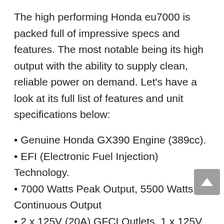The high performing Honda eu7000 is packed full of impressive specs and features. The most notable being its high output with the ability to supply clean, reliable power on demand. Let's have a look at its full list of features and unit specifications below:
Genuine Honda GX390 Engine (389cc).
EFI (Electronic Fuel Injection) Technology.
7000 Watts Peak Output, 5500 Watts Continuous Output
2 x 125V (20A) GFCI Outlets, 1 x 125V